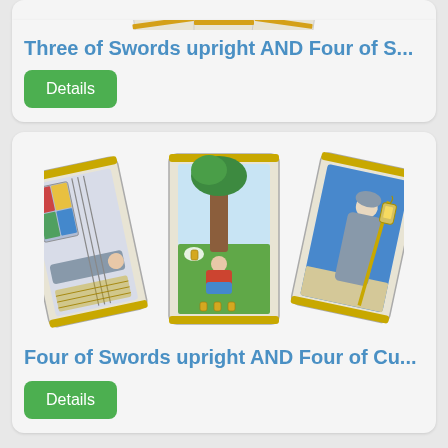[Figure (illustration): Three tarot cards fanned out (partial view, top cropped): Three of Swords and Four of Swords cards visible at top of page]
Three of Swords upright AND Four of S...
Details
[Figure (illustration): Three tarot cards fanned out: Four of Swords (left, showing knight lying down with swords), Four of Cups (center, showing person sitting under tree with cups), The Hermit (right, showing robed figure with lantern and staff)]
Four of Swords upright AND Four of Cu...
Details